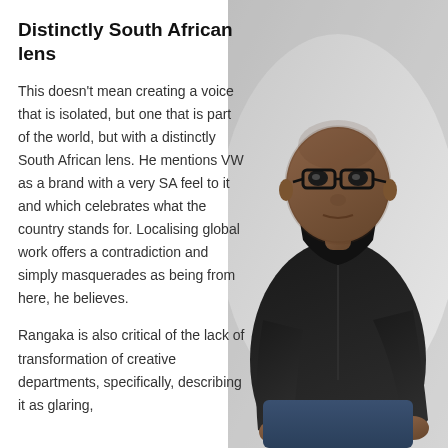Distinctly South African lens
This doesn't mean creating a voice that is isolated, but one that is part of the world, but with a distinctly South African lens. He mentions VW as a brand with a very SA feel to it and which celebrates what the country stands for. Localising global work offers a contradiction and simply masquerades as being from here, he believes.
Rangaka is also critical of the lack of transformation of creative departments, specifically, describing it as glaring,
[Figure (photo): Portrait photo of a Black man wearing glasses and a black jacket, standing with hands in pockets, against a light grey background.]